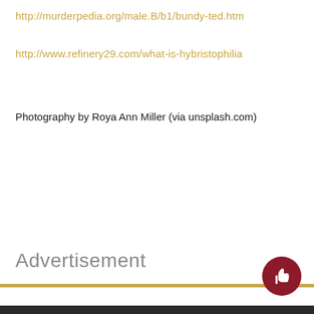http://murderpedia.org/male.B/b1/bundy-ted.htm
http://www.refinery29.com/what-is-hybristophilia
Photography by Roya Ann Miller (via unsplash.com)
Advertisement